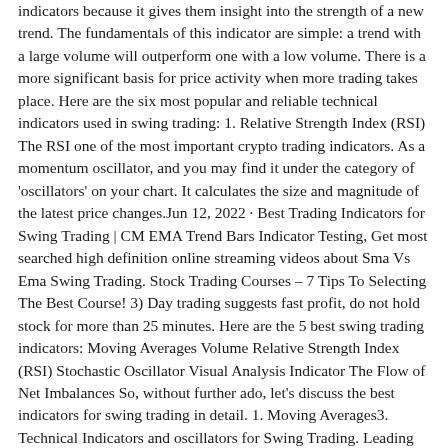indicators because it gives them insight into the strength of a new trend. The fundamentals of this indicator are simple: a trend with a large volume will outperform one with a low volume. There is a more significant basis for price activity when more trading takes place. Here are the six most popular and reliable technical indicators used in swing trading: 1. Relative Strength Index (RSI) The RSI one of the most important crypto trading indicators. As a momentum oscillator, and you may find it under the category of 'oscillators' on your chart. It calculates the size and magnitude of the latest price changes.Jun 12, 2022 · Best Trading Indicators for Swing Trading | CM EMA Trend Bars Indicator Testing, Get most searched high definition online streaming videos about Sma Vs Ema Swing Trading. Stock Trading Courses – 7 Tips To Selecting The Best Course! 3) Day trading suggests fast profit, do not hold stock for more than 25 minutes. Here are the 5 best swing trading indicators: Moving Averages Volume Relative Strength Index (RSI) Stochastic Oscillator Visual Analysis Indicator The Flow of Net Imbalances So, without further ado, let's discuss the best indicators for swing trading in detail. 1. Moving Averages3. Technical Indicators and oscillators for Swing Trading. Leading Indicator (Lead price Movements) Lagging indicator (Lagging the price moves or follow the price) How to Use Swing Trading Indicators. 1. Trend. The trend is the most important for technical analysis and swing trading. It is the direction of the market and it is very important to ... Step 4: Go Long at the close of the bar above the 20 EMA. Step 5: Place Stop Loss below the swing low and ...